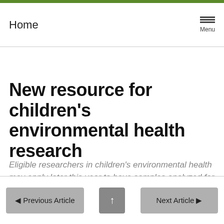Home | Menu
New resource for children's environmental health research
Eligible researchers in children's environmental health may apply later this year to have samples analyzed for chemicals and biomarkers.
BY VIRGINIA GUIDRY
◄ Previous Article | ↑ | Next Article ►